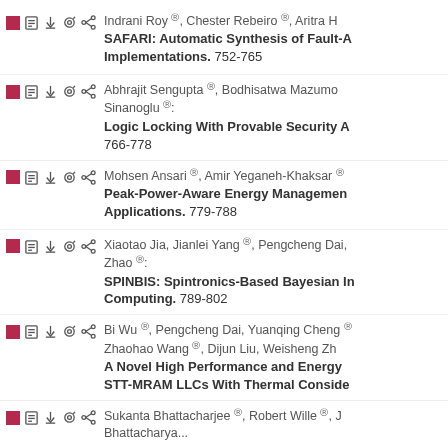Indrani Roy, Chester Rebeiro, Aritra H... SAFARI: Automatic Synthesis of Fault-A... Implementations. 752-765
Abhrajit Sengupta, Bodhisatwa Mazumo... Sinanoglu: Logic Locking With Provable Security A... 766-778
Mohsen Ansari, Amir Yeganeh-Khaksar... Peak-Power-Aware Energy Management... Applications. 779-788
Xiaotao Jia, Jianlei Yang, Pengcheng Dai, ... Zhao: SPINBIS: Spintronics-Based Bayesian In... Computing. 789-802
Bi Wu, Pengcheng Dai, Yuanqing Cheng... Zhaohao Wang, Dijun Liu, Weisheng Zh... A Novel High Performance and Energy... STT-MRAM LLCs With Thermal Consider...
Sukanta Bhattacharjee, Robert Wille, J... Bhattacharya...